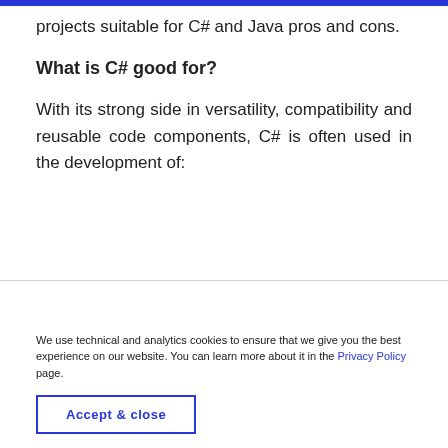projects suitable for C# and Java pros and cons.
What is C# good for?
With its strong side in versatility, compatibility and reusable code components, C# is often used in the development of:
We use technical and analytics cookies to ensure that we give you the best experience on our website. You can learn more about it in the Privacy Policy page.
Accept & close